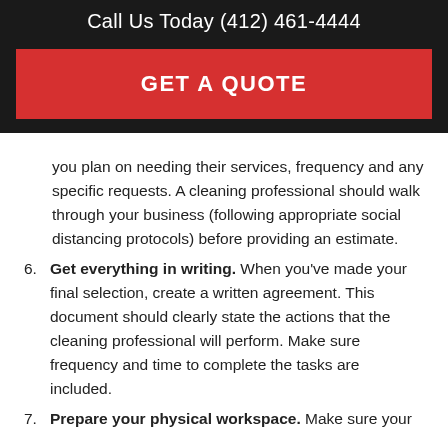Call Us Today (412) 461-4444
GET A QUOTE
you plan on needing their services, frequency and any specific requests. A cleaning professional should walk through your business (following appropriate social distancing protocols) before providing an estimate.
6. Get everything in writing. When you've made your final selection, create a written agreement. This document should clearly state the actions that the cleaning professional will perform. Make sure frequency and time to complete the tasks are included.
7. Prepare your physical workspace. Make sure your